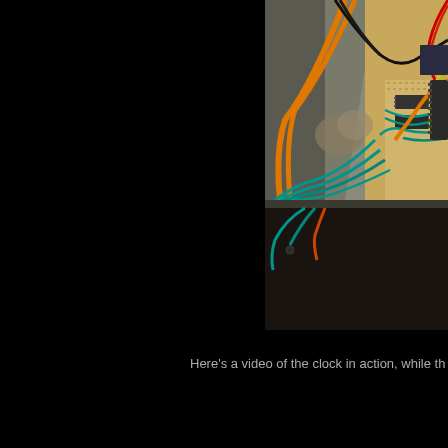[Figure (photo): Interior of an electronic device showing colorful wiring (orange, teal/green, black, red, yellow wires) connected to circuit boards and components mounted on a breadboard inside a metal enclosure. The wiring is dense and the interior is illuminated.]
Here's a video of the clock in action, while th